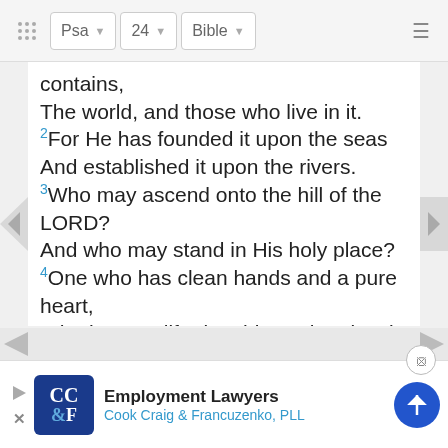Psa  24  Bible
contains,
The world, and those who live in it.
2For He has founded it upon the seas
And established it upon the rivers.
3Who may ascend onto the hill of the LORD?
And who may stand in His holy place?
4One who has clean hands and a pure heart,
Who has not lifted up his soul to deceit
And has not sworn deceitfully.
5He will receive a blessing from the LORD
And [b]righteousness from the God of his salvation.
6 [c]This is the generation of those who se
H...
W...
[Figure (screenshot): Advertisement banner for Cook Craig & Francuzenko, PLL Employment Lawyers]